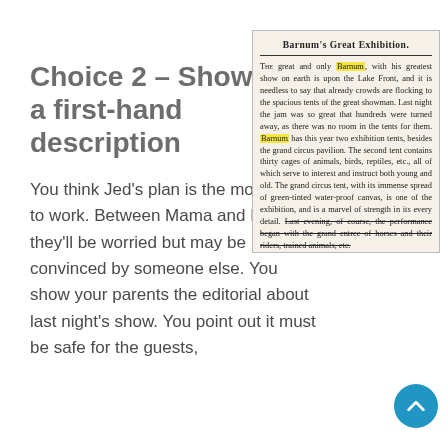Choice 2 – Show her a first-hand description
You think Jed's plan is the most likely to work. Between Mama and Papa, they'll be worried but may be convinced by someone else. You show your parents the editorial about last night's show. You point out it must be safe for the guests, especially with children
[Figure (other): Newspaper clipping titled 'Barnum's Great Exhibition.' describing Barnum's circus with highlighted references to 'Barnum' in yellow.]